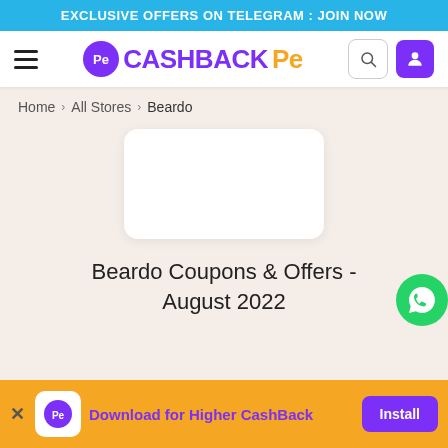EXCLUSIVE OFFERS ON TELEGRAM : JOIN NOW
[Figure (logo): CashBackPe website navigation bar with hamburger menu, CashBackPe logo, search and user icons]
Home > All Stores > Beardo
[Figure (illustration): Beardo brand logo placeholder box (white rounded rectangle)]
Beardo Coupons & Offers - August 2022
Download for Higher CashBack  Install